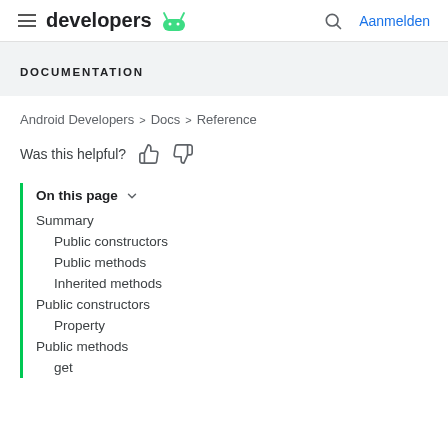developers | Aanmelden
DOCUMENTATION
Android Developers > Docs > Reference
Was this helpful?
On this page
Summary
Public constructors
Public methods
Inherited methods
Public constructors
Property
Public methods
get